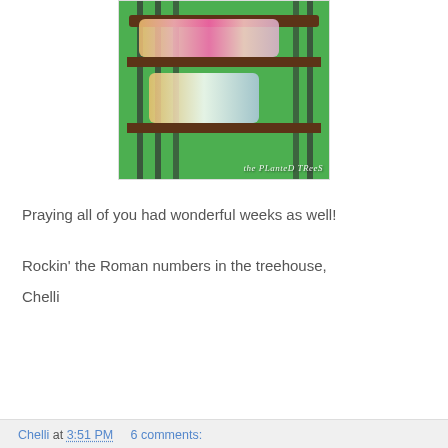[Figure (photo): Two children playing in a bunk bed in a green room. A girl lies on the top bunk and a boy is underneath. Watermark reads 'the PLanteD TReeS'.]
Praying all of you had wonderful weeks as well!
Rockin' the Roman numbers in the treehouse,

Chelli
Chelli at 3:51 PM    6 comments: